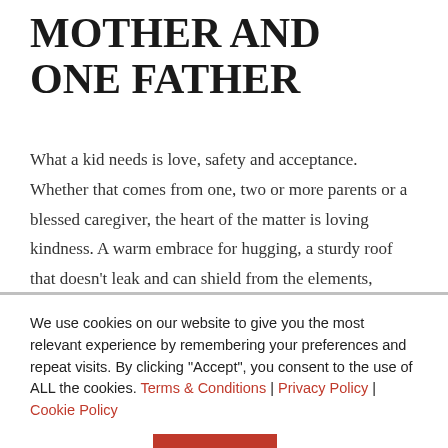MOTHER AND ONE FATHER
What a kid needs is love, safety and acceptance. Whether that comes from one, two or more parents or a blessed caregiver, the heart of the matter is loving kindness. A warm embrace for hugging, a sturdy roof that doesn't leak and can shield from the elements, enough money that there is a steady supply of food, hands that do not hurt, mouths that speak of
We use cookies on our website to give you the most relevant experience by remembering your preferences and repeat visits. By clicking "Accept", you consent to the use of ALL the cookies. Terms & Conditions | Privacy Policy | Cookie Policy
Cookie settings  ACCEPT